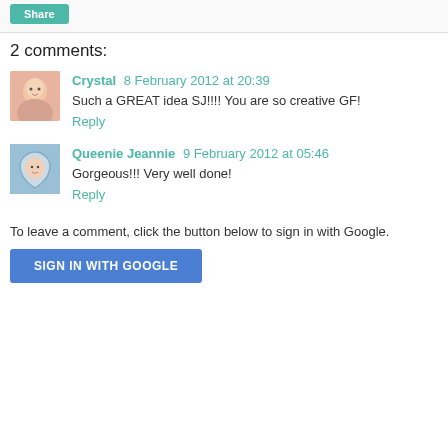[Figure (other): Share button area with teal/green Share button]
2 comments:
[Figure (photo): Crystal avatar - small profile photo of a woman]
Crystal  8 February 2012 at 20:39
Such a GREAT idea SJ!!!! You are so creative GF!
Reply
[Figure (photo): Queenie Jeannie avatar - small profile photo with heart frame]
Queenie Jeannie  9 February 2012 at 05:46
Gorgeous!!! Very well done!
Reply
To leave a comment, click the button below to sign in with Google.
[Figure (other): SIGN IN WITH GOOGLE button in blue]